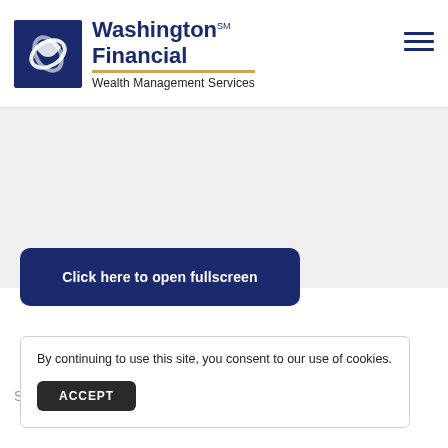[Figure (logo): Washington Financial Wealth Management Services logo with dark blue square containing a swirl graphic, bold dark blue brand name text, gold underline, and subtitle text]
Click here to open fullscreen
By continuing to use this site, you consent to our use of cookies.
ACCEPT